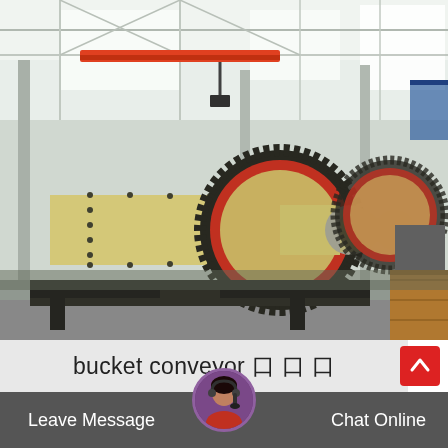[Figure (photo): Industrial ball mills / grinding mills on the factory floor of a large manufacturing facility. The machines are large cylindrical yellow drum-shaped mills with black gear rings around them, mounted on black steel frames. A red overhead crane is visible in the background. Several units are lined up in the factory.]
bucket conveyor 口 口 口
Leave Message
Chat Online